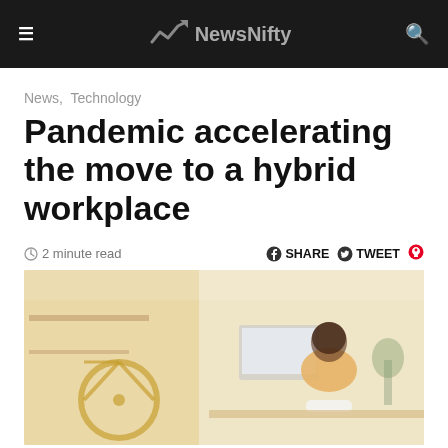≡  NewsNifty  🔍
News,  Technology
Pandemic accelerating the move to a hybrid workplace
🕐 2 minute read    SHARE  TWEET  📌
[Figure (photo): Person with yellow shirt sitting at a desk working on a computer, yellow bicycle visible on the left side of the room, home office setting]